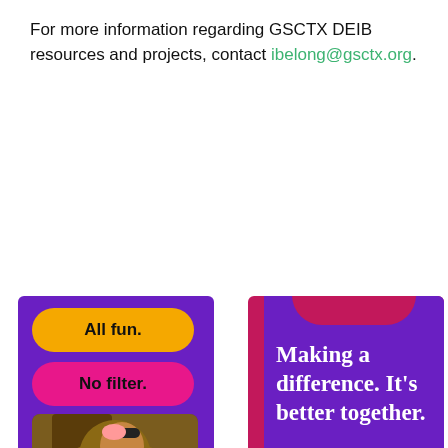For more information regarding GSCTX DEIB resources and projects, contact ibelong@gsctx.org.
[Figure (infographic): Two Girl Scout recruitment promotional cards side by side. Left card: purple background with yellow 'All fun.' button, pink 'No filter.' button, photo of two girls making funny faces in a clover-shaped frame, orange 'Be a Girl Scout.' button. Right card: magenta background with purple badge-shaped panel containing white text 'Making a difference. It's better together.' and 'Become a Girl Scout leader'.]